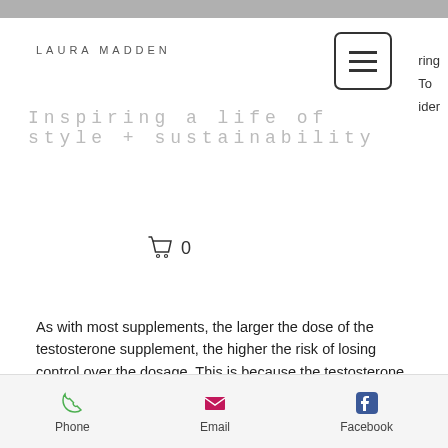LAURA MADDEN
Inspiring a life of style + sustainability
0
As with most supplements, the larger the dose of the testosterone supplement, the higher the risk of losing control over the dosage. This is because the testosterone used in the supplement is actually absorbed to a greater extent than testosterone that is taken at a lower dosage, trenbolone uses and side effects.
The side effects associated with this greater absorption rate, and thus a larger dose taken
Phone   Email   Facebook